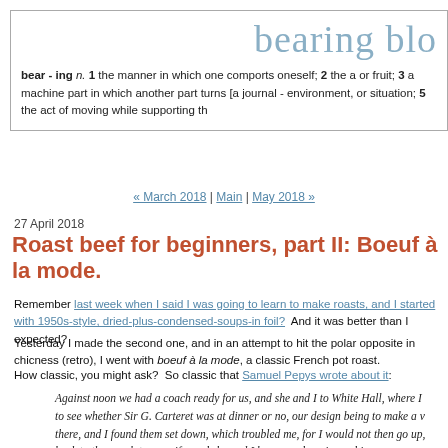bearing blo
bear - ing n. 1 the manner in which one comports oneself; 2 the a or fruit; 3 a machine part in which another part turns [a journal - environment, or situation; 5 the act of moving while supporting th
« March 2018 | Main | May 2018 »
27 April 2018
Roast beef for beginners, part II: Boeuf à la mode.
Remember last week when I said I was going to learn to make roasts, and I started with 1950s-style, dried-plus-condensed-soups-in foil?  And it was better than I expected?
Yesterday I made the second one, and in an attempt to hit the polar opposite in chicness (retro), I went with boeuf à la mode, a classic French pot roast.
How classic, you might ask?  So classic that Samuel Pepys wrote about it:
Against noon we had a coach ready for us, and she and I to White Hall, where I to see whether Sir G. Carteret was at dinner or no, our design being to make a v there, and I found them set down, which troubled me, for I would not then go up, back to the coach to my wife, and she and I homeward again, and in our way bethought ourselves of going alone, she and I, to go to a French house to dinne so enquired out Monsieur Robins, my perriwigg-maker, who keeps an ordinary, a an ugly street in Covent Garden, did find him at the door, and so we in; and in a